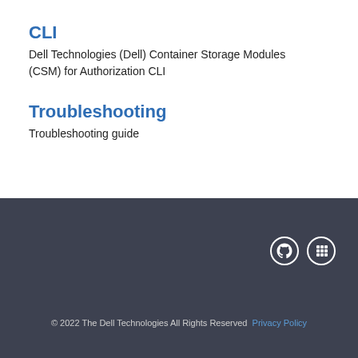CLI
Dell Technologies (Dell) Container Storage Modules (CSM) for Authorization CLI
Troubleshooting
Troubleshooting guide
© 2022 The Dell Technologies All Rights Reserved  Privacy Policy